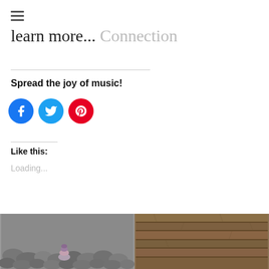≡
learn more... Connection
Spread the joy of music!
[Figure (infographic): Three social media share buttons: Facebook (blue circle with f icon), Twitter (light blue circle with bird icon), Pinterest (red circle with P icon)]
Like this:
Loading...
[Figure (photo): Photo of stacked smooth river stones/pebbles in grey and purple tones]
[Figure (photo): Photo of rustic wooden planks or boards texture in brown tones]